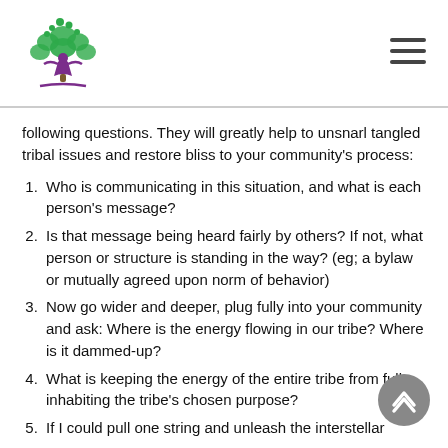[Logo: tree with purple figure] [Hamburger menu icon]
following questions. They will greatly help to unsnarl tangled tribal issues and restore bliss to your community's process:
1. Who is communicating in this situation, and what is each person's message?
2. Is that message being heard fairly by others? If not, what person or structure is standing in the way? (eg; a bylaw or mutually agreed upon norm of behavior)
3. Now go wider and deeper, plug fully into your community and ask: Where is the energy flowing in our tribe? Where is it dammed-up?
4. What is keeping the energy of the entire tribe from fully inhabiting the tribe's chosen purpose?
5. If I could pull one string and unleash the interstellar